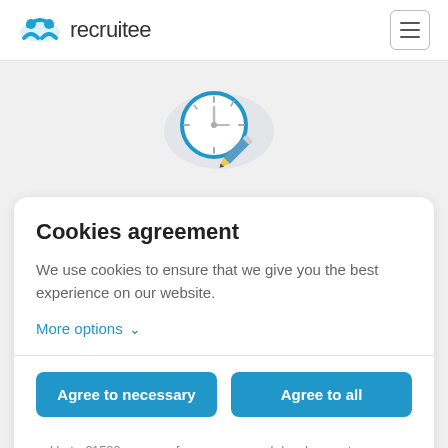[Figure (logo): Recruitee logo with blue cloud/person icon and text 'recruitee']
[Figure (illustration): Clock with a pencil illustration on grey background]
Cookies agreement
We use cookies to ensure that we give you the best experience on our website.
More options
Agree to necessary
Agree to all
Up to €1500 per year for your personal development.